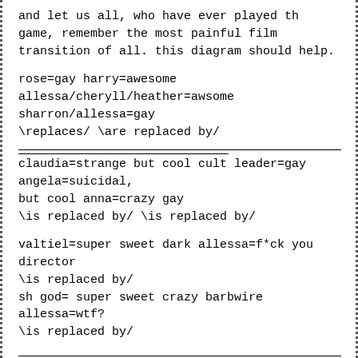and let us all, who have ever played th game, remember the most painful film transition of all. this diagram should help.
rose=gay harry=awesome
allessa/cheryll/heather=awsome sharron/allessa=gay
\replaces/ \are replaced by/
claudia=strange but cool cult leader=gay angela=suicidal, but cool anna=crazy gay
\is replaced by/ \is replaced by/
valtiel=super sweet dark allessa=f*ck you director
\is replaced by/
sh god= super sweet crazy barbwire allessa=wtf?
\is replaced by/